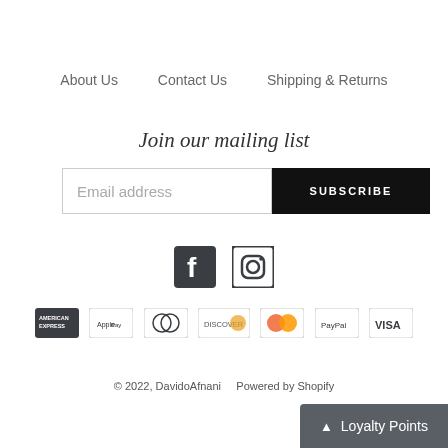About Us   Contact Us   Shipping & Returns
Join our mailing list
Email address   SUBSCRIBE
[Figure (illustration): Facebook and Instagram social media icons]
[Figure (illustration): Payment method icons: American Express, Apple Pay, Diners Club, Discover, Mastercard, PayPal, Visa]
© 2022, DavidoAfnani   Powered by Shopify
Loyalty Points